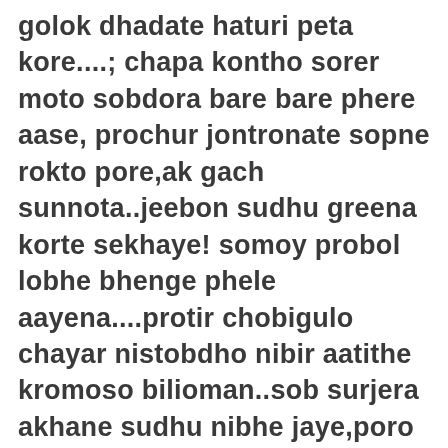golok dhadate haturi peta kore....; chapa kontho sorer moto sobdora bare bare phere aase, prochur jontronate sopne rokto pore,ak gach sunnota..jeebon sudhu greena korte sekhaye! somoy probol lobhe bhenge phele aayena....protir chobigulo chayar nistobdho nibir aatithe kromoso bilioman..sob surjera akhane sudhu nibhe jaye,poro khone aabar jole othe...tasher motho flater sorir ..gorad..aar gorader beyerer theme thaka chitkar..obadho somoy,jonjaler drum..sohorer boro hote thaka..obiswaser bodha...kam niskam....muriye neoya rater